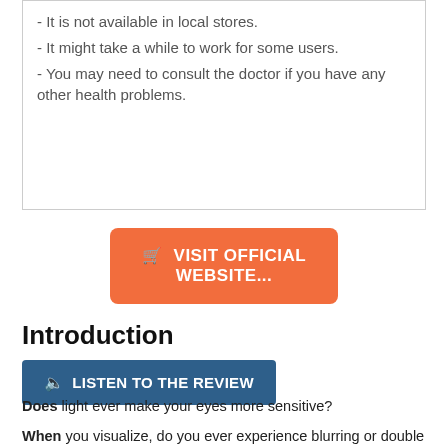- It is not available in local stores.
- It might take a while to work for some users.
- You may need to consult the doctor if you have any other health problems.
🛒 VISIT OFFICIAL WEBSITE...
Introduction
🔊 LISTEN TO THE REVIEW
Does light ever make your eyes more sensitive?
When you visualize, do you ever experience blurring or double vision?
Do you have a constant sense of dryness or wetness in your eyes?